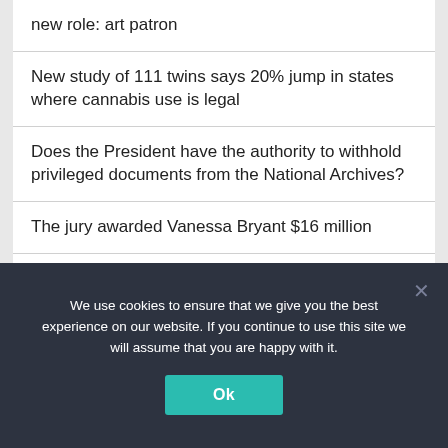new role: art patron
New study of 111 twins says 20% jump in states where cannabis use is legal
Does the President have the authority to withhold privileged documents from the National Archives?
The jury awarded Vanessa Bryant $16 million
The absolute best anime shows on Netflix
We use cookies to ensure that we give you the best experience on our website. If you continue to use this site we will assume that you are happy with it.